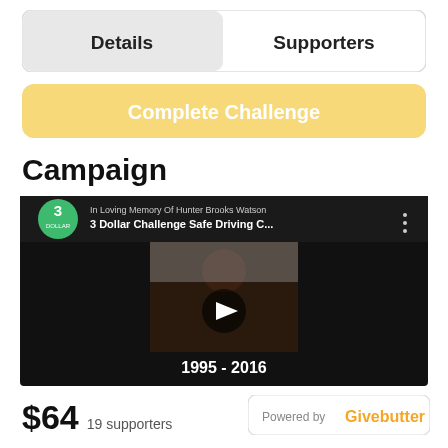[Figure (screenshot): Tab navigation with 'Details' and 'Supporters' tabs inside a rounded rectangle border]
[Figure (screenshot): Yellow rounded button labeled 'Complete Challenge']
Campaign
[Figure (screenshot): Video player showing '3 Dollar Challenge Safe Driving C...' with 'In Loving Memory Of Hunter Brooks Watson' and '1995 - 2016' text, with a play button overlay on a black background]
$64  19 supporters
[Figure (logo): Powered by Givebutter logo badge]